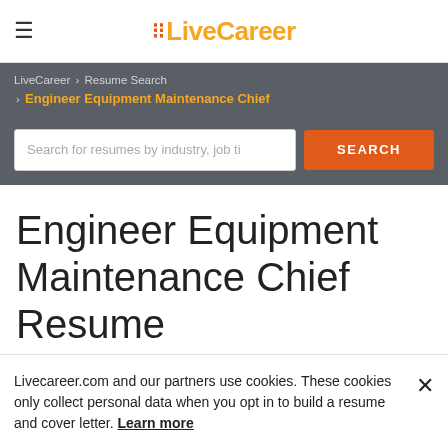LiveCareer (logo with hamburger menu)
LiveCareer > Resume Search > Engineer Equipment Maintenance Chief
Search for resumes by industry, job ti
Engineer Equipment Maintenance Chief Resume Example
Livecareer.com and our partners use cookies. These cookies only collect personal data when you opt in to build a resume and cover letter. Learn more